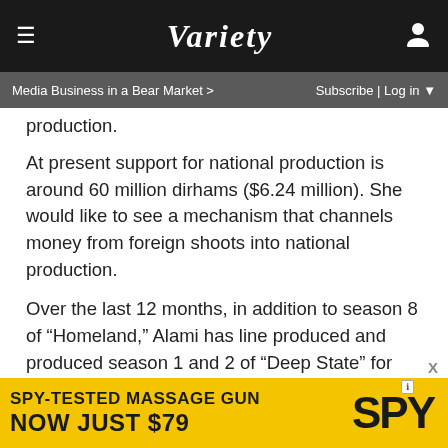VARIETY
Media Business in a Bear Market > | Subscribe | Log in
production.
At present support for national production is around 60 million dirhams ($6.24 million). She would like to see a mechanism that channels money from foreign shoots into national production.
Over the last 12 months, in addition to season 8 of “Homeland,” Alami has line produced and produced season 1 and 2 of “Deep State” for Fox UK, “Baghdad Central,” for the U.K.’s Channel 4, and sci-fi series “Ray James,” created by Simon Kinberg and David Weil, for Apple.
Other productions include the Netflix series “The Spy,” serviced by Agora Films, starring Sacha Baron Cohen and created by Gideon Raff (“Homeland”), and the upcoming production “M…
[Figure (infographic): Advertisement banner: SPY-TESTED MASSAGE GUN NOW JUST $79 with SPY logo on yellow background]